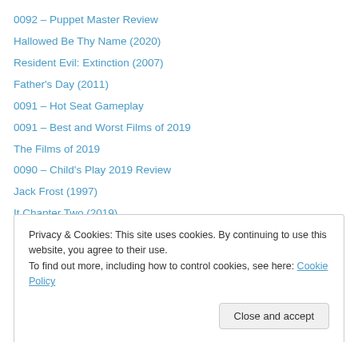0092 – Puppet Master Review
Hallowed Be Thy Name (2020)
Resident Evil: Extinction (2007)
Father's Day (2011)
0091 – Hot Seat Gameplay
0091 – Best and Worst Films of 2019
The Films of 2019
0090 – Child's Play 2019 Review
Jack Frost (1997)
It Chapter Two (2019)
Privacy & Cookies: This site uses cookies. By continuing to use this website, you agree to their use.
To find out more, including how to control cookies, see here: Cookie Policy
Close and accept